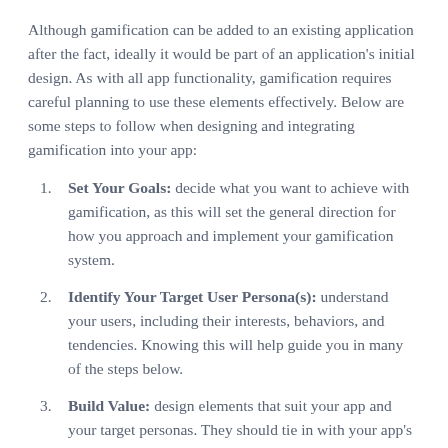Although gamification can be added to an existing application after the fact, ideally it would be part of an application's initial design. As with all app functionality, gamification requires careful planning to use these elements effectively. Below are some steps to follow when designing and integrating gamification into your app:
Set Your Goals: decide what you want to achieve with gamification, as this will set the general direction for how you approach and implement your gamification system.
Identify Your Target User Persona(s): understand your users, including their interests, behaviors, and tendencies. Knowing this will help guide you in many of the steps below.
Build Value: design elements that suit your app and your target personas. They should tie in with your app's look and feel both visually and functionally.